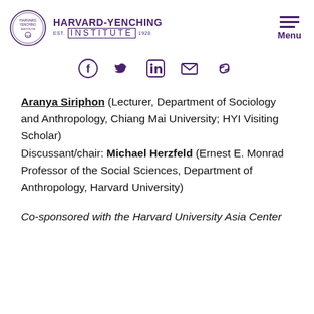HARVARD-YENCHING INSTITUTE — Menu
[Figure (other): Social media icons: Facebook, Twitter, LinkedIn, Email, Link]
Aranya Siriphon (Lecturer, Department of Sociology and Anthropology, Chiang Mai University; HYI Visiting Scholar) Discussant/chair: Michael Herzfeld (Ernest E. Monrad Professor of the Social Sciences, Department of Anthropology, Harvard University)
Co-sponsored with the Harvard University Asia Center